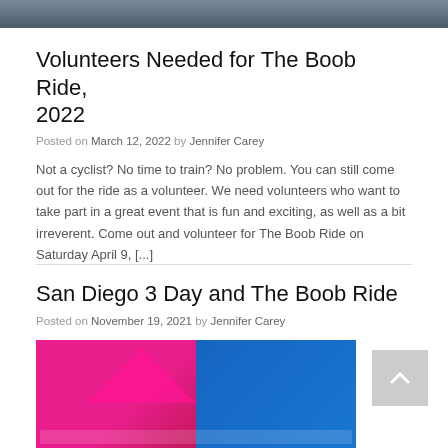[Figure (photo): Top cropped photo showing people wearing dark t-shirts with 'Boob Ride' text]
Volunteers Needed for The Boob Ride, 2022
Posted on March 12, 2022 by Jennifer Carey
Not a cyclist? No time to train? No problem. You can still come out for the ride as a volunteer. We need volunteers who want to take part in a great event that is fun and exciting, as well as a bit irreverent. Come out and volunteer for The Boob Ride on Saturday April 9, [...]
San Diego 3 Day and The Boob Ride
Posted on November 19, 2021 by Jennifer Carey
[Figure (photo): Bottom photo showing a pink tent/booth with 'Boob Ride' branding and a blue banner]